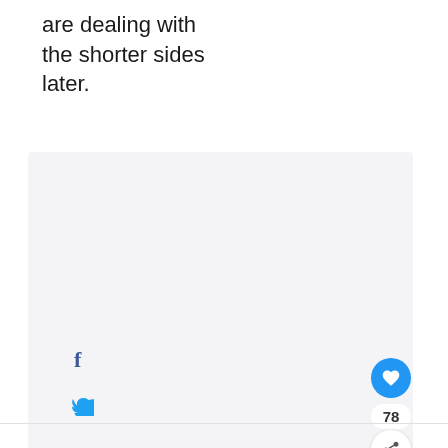are dealing with the shorter sides later.
[Figure (infographic): Social sharing widget with Facebook, Twitter, Pinterest icons on the left; heart/like button (blue circle), count 78, and share button on the right; 'WHAT'S NEXT → DIY Seashell Mirror' card in bottom right corner.]